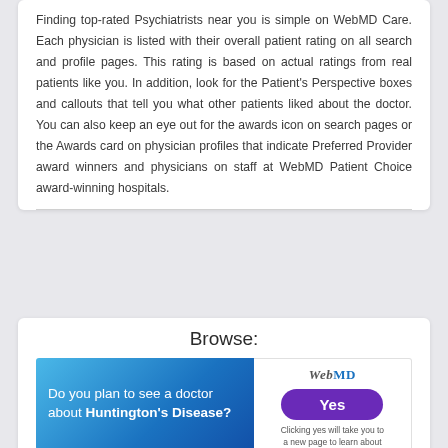Finding top-rated Psychiatrists near you is simple on WebMD Care. Each physician is listed with their overall patient rating on all search and profile pages. This rating is based on actual ratings from real patients like you. In addition, look for the Patient's Perspective boxes and callouts that tell you what other patients liked about the doctor. You can also keep an eye out for the awards icon on search pages or the Awards card on physician profiles that indicate Preferred Provider award winners and physicians on staff at WebMD Patient Choice award-winning hospitals.
Browse:
[Figure (infographic): Advertisement: WebMD survey asking 'Do you plan to see a doctor about Huntington's Disease?' with a blue gradient left panel and a white right panel showing WebMD logo and a purple 'Yes' button. Caption: 'Clicking yes will take you to a new page to learn about Huntington's Disease.']